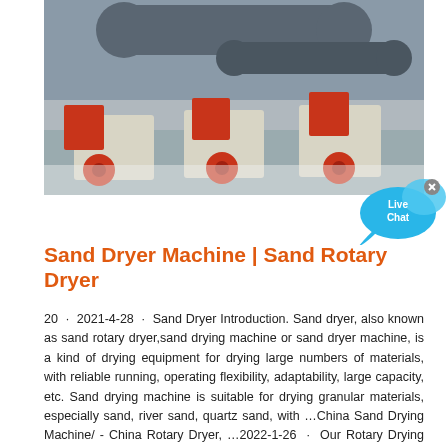[Figure (photo): Industrial sand dryer machines and hammer crushers with red components displayed outdoors in a factory yard, with large rotary dryer cylinders visible in the background.]
[Figure (other): Live Chat button badge in blue speech bubble style with an 'x' close button.]
Sand Dryer Machine | Sand Rotary Dryer
20 · 2021-4-28 · Sand Dryer Introduction. Sand dryer, also known as sand rotary dryer,sand drying machine or sand dryer machine, is a kind of drying equipment for drying large numbers of materials, with reliable running, operating flexibility, adaptability, large capacity, etc. Sand drying machine is suitable for drying granular materials, especially sand, river sand, quartz sand, with …China Sand Drying Machine/ - China Rotary Dryer, …2022-1-26 · Our Rotary Drying Machine/Sand Drying Machine/Coal Dryer/Slag Dryer/Sand Dryer is designed with the best working conditions, which enables it to save